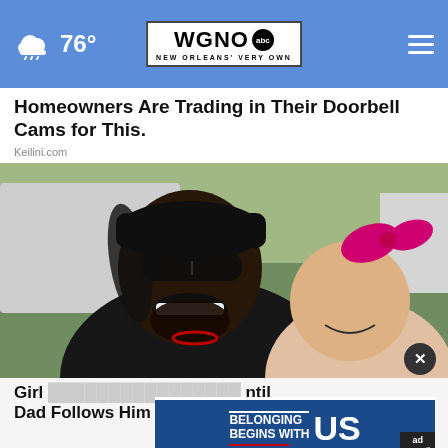76° WGNO abc NEW ORLEANS' VERY OWN
Homeowners Are Trading in Their Doorbell Cams for This.
Keilini.com
[Figure (photo): A smiling man wearing sunglasses and a black hat poses with a young girl who has a pink bow in her hair.]
Girl ... Until Dad Follows Him and Sees Why